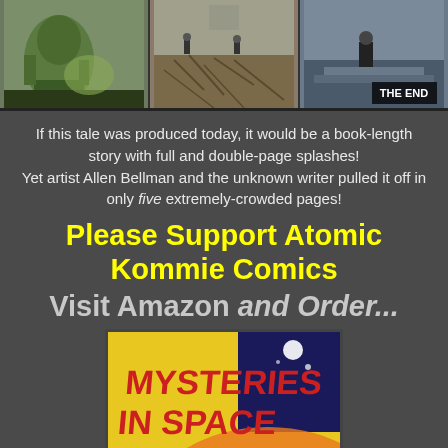[Figure (illustration): Three comic book panels showing sci-fi scenes. Left panel has a green alien figure, middle panel shows figures on a cracked landscape, right panel shows 'THE END' text with a figure.]
If this tale was produced today, it would be a book-length story with full and double-page splashes! Yet artist Allen Bellman and the unknown writer pulled it off in only five extremely-crowded pages!
Please Support Atomic Kommie Comics
Visit Amazon and Order...
[Figure (photo): Book cover for 'Mysteries in Space: The Best of DC Science Fiction Comics' edited by Michael Uslan, featuring red comic-style lettering on a yellow background with space imagery.]